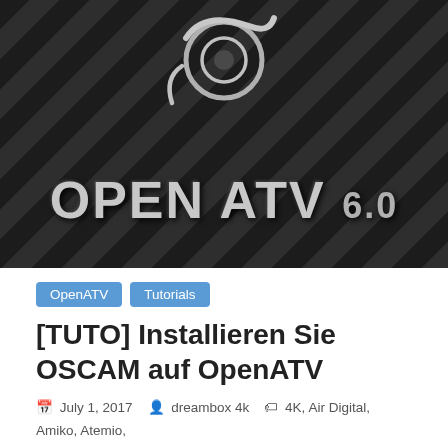[Figure (photo): Dark metallic tiled panel background with OpenATV logo (abstract circle/swoosh mark) at top and large text 'OPEN ATV 6.0' in silver 3D letters]
OpenATV   Tutorials
[TUTO] Installieren Sie OSCAM auf OpenATV
July 1, 2017   dreambox 4k   4K, Air Digital, Amiko, Atemio, AX, axas, Azbox, Beyonwiz, D-cube, DM 500 HD, DM 7020 HD, DM 7080 HD, DM 800 HD, DM500 HD, DM500HD, DM500HD v2, DM520,